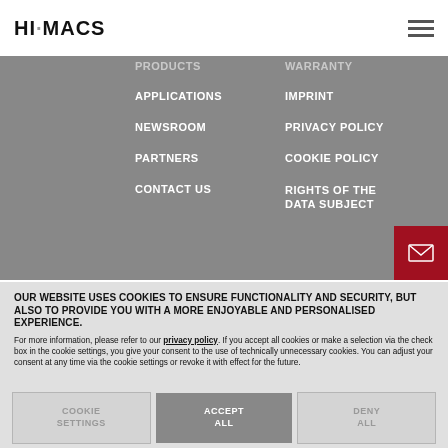HI·MACS
PRODUCTS
APPLICATIONS
NEWSROOM
PARTNERS
CONTACT US
WARRANTY
IMPRINT
PRIVACY POLICY
COOKIE POLICY
RIGHTS OF THE DATA SUBJECT
OUR WEBSITE USES COOKIES TO ENSURE FUNCTIONALITY AND SECURITY, BUT ALSO TO PROVIDE YOU WITH A MORE ENJOYABLE AND PERSONALISED EXPERIENCE.
For more information, please refer to our privacy policy. If you accept all cookies or make a selection via the check box in the cookie settings, you give your consent to the use of technically unnecessary cookies. You can adjust your consent at any time via the cookie settings or revoke it with effect for the future.
COOKIE SETTINGS
ACCEPT ALL
DENY ALL